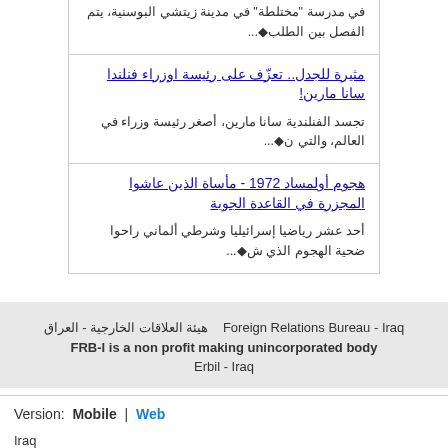في مدرسة "مختلطة" في مدينة زيتشي البوسنية، يتم الفصل بين الطلب...
مثيرة للجدل.. تعزّف على رئيسة اوزراء فنلندا سانا مارين!
تجسد الفنلندية سانا مارين، أصغر رئيسة وزراء في العالم، والتي ن...
هجوم أولمساد 1972 - مأساة الذين عاشوا المجزرة في القاعدة الجوية
أحد عشر رياضيا إسرائيليا وشرطي ألماني راحوا ضحية الهجوم الذي ش...
هيئة العلاقات الخارجية - العراق  Foreign Relations Bureau - Iraq
FRB-I is a non profit making unincorporated body
Erbil - Iraq
Version:  Mobile  |  Web
Iraq